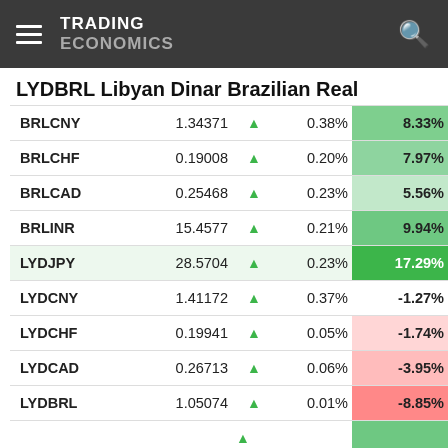TRADING ECONOMICS
LYDBRL Libyan Dinar Brazilian Real
|  | Value |  | % Change | YTD% |
| --- | --- | --- | --- | --- |
| BRLCNY | 1.34371 | ▲ | 0.38% | 8.33% |
| BRLCHF | 0.19008 | ▲ | 0.20% | 7.97% |
| BRLCAD | 0.25468 | ▲ | 0.23% | 5.56% |
| BRLINR | 15.4577 | ▲ | 0.21% | 9.94% |
| LYDJPY | 28.5704 | ▲ | 0.23% | 17.29% |
| LYDCNY | 1.41172 | ▲ | 0.37% | -1.27% |
| LYDCHF | 0.19941 | ▲ | 0.05% | -1.74% |
| LYDCAD | 0.26713 | ▲ | 0.06% | -3.95% |
| LYDBRL | 1.05074 | ▲ | 0.01% | -8.85% |